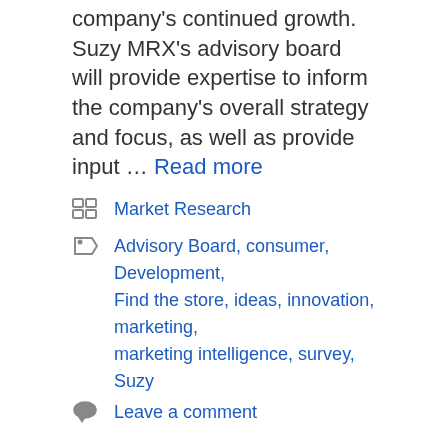company's continued growth. Suzy MRX's advisory board will provide expertise to inform the company's overall strategy and focus, as well as provide input … Read more
Categories: Market Research
Tags: Advisory Board, consumer, Development, Find the store, ideas, innovation, marketing, marketing intelligence, survey, Suzy
Leave a comment
Technavio's Gifts Novelty and